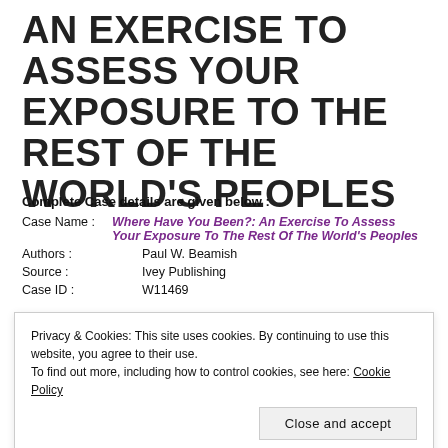AN EXERCISE TO ASSESS YOUR EXPOSURE TO THE REST OF THE WORLD'S PEOPLES
Complete Case details are given below :
Case Name : Where Have You Been?: An Exercise To Assess Your Exposure To The Rest Of The World's Peoples
Authors : Paul W. Beamish
Source : Ivey Publishing
Case ID : W11469
Privacy & Cookies: This site uses cookies. By continuing to use this website, you agree to their use. To find out more, including how to control cookies, see here: Cookie Policy
Close and accept
Description for case is given below :